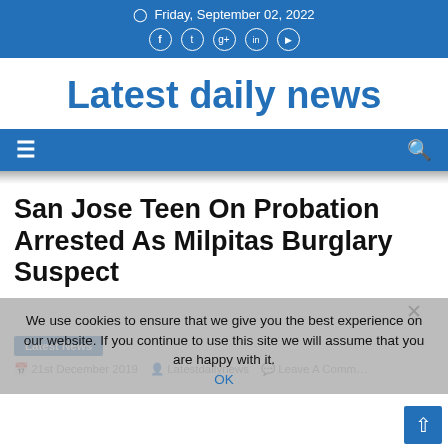Friday, September 02, 2022
Latest daily news
≡  🔍
San Jose Teen On Probation Arrested As Milpitas Burglary Suspect
Latest News
21st December 2019   Latestdailynews   Leave A Comment
We use cookies to ensure that we give you the best experience on our website. If you continue to use this site we will assume that you are happy with it.
OK